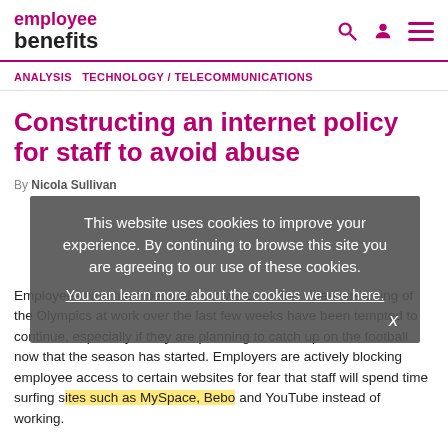employee benefits
ANALYSIS   TECHNOLOGY / TELECOMMUNICATIONS
Constructing an internet policy for staff to avoid abuse
This website uses cookies to improve your experience. By continuing to browse this site you are agreeing to our use of these cookies. You can learn more about the cookies we use here.
Employees who have been able to watch online video streaming of the Olympics at work over the last few weeks have been tempted to continue, especially if they are planning to catch up on the football now that the season has started. Employers are actively blocking employee access to certain websites for fear that staff will spend time surfing sites such as MySpace, Bebo and YouTube instead of working.